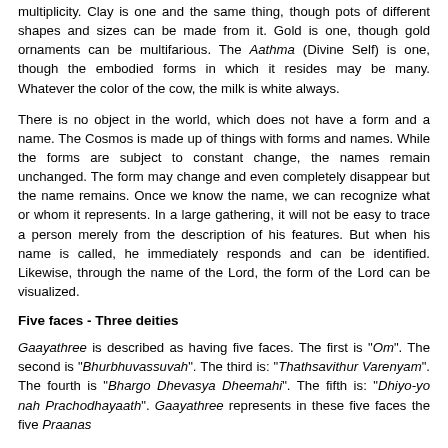multiplicity. Clay is one and the same thing, though pots of different shapes and sizes can be made from it. Gold is one, though gold ornaments can be multifarious. The Aathma (Divine Self) is one, though the embodied forms in which it resides may be many. Whatever the color of the cow, the milk is white always.
There is no object in the world, which does not have a form and a name. The Cosmos is made up of things with forms and names. While the forms are subject to constant change, the names remain unchanged. The form may change and even completely disappear but the name remains. Once we know the name, we can recognize what or whom it represents. In a large gathering, it will not be easy to trace a person merely from the description of his features. But when his name is called, he immediately responds and can be identified. Likewise, through the name of the Lord, the form of the Lord can be visualized.
Five faces - Three deities
Gaayathree is described as having five faces. The first is "Om". The second is "Bhurbhuvassuvah". The third is: "Thathsavithur Varenyam". The fourth is "Bhargo Dhevasya Dheemahi". The fifth is: "Dhiyo-yo nah Prachodhayaath". Gaayathree represents in these five faces the five Praanas